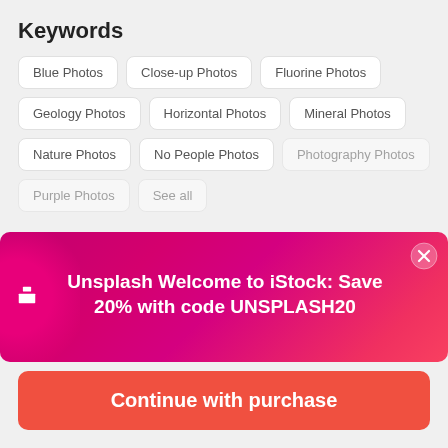Keywords
Blue Photos
Close-up Photos
Fluorine Photos
Geology Photos
Horizontal Photos
Mineral Photos
Nature Photos
No People Photos
Photography Photos
Purple Photos
See all
[Figure (screenshot): Promotional banner overlay: Unsplash logo with text 'Welcome to iStock: Save 20% with code UNSPLASH20' on a magenta-to-red gradient background with a close button.]
Categories
$12 | 1 credit
Continue with purchase